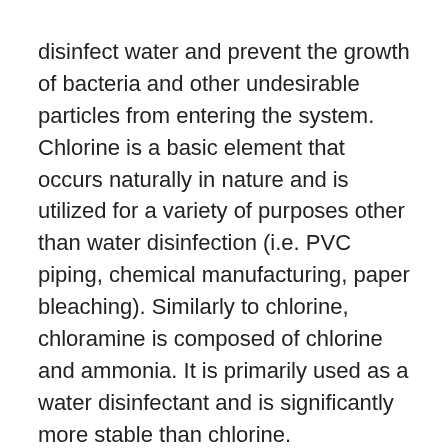disinfect water and prevent the growth of bacteria and other undesirable particles from entering the system. Chlorine is a basic element that occurs naturally in nature and is utilized for a variety of purposes other than water disinfection (i.e. PVC piping, chemical manufacturing, paper bleaching). Similarly to chlorine, chloramine is composed of chlorine and ammonia. It is primarily used as a water disinfectant and is significantly more stable than chlorine.
However, chloramine is slightly more corrosive than chlorine, can deteriorate rubber, cause pipe leaching, and is more difficult to remove using conventional filtration techniques.
For example, chloramine may persist in water for